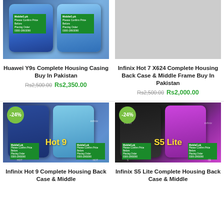[Figure (photo): Two Huawei Y9s phone back covers with MobileG.pk green labels, blue gradient]
[Figure (photo): Gray placeholder image for Infinix Hot 7 X624 housing]
Huawei Y9s Complete Housing Casing Buy In Pakistan
Rs2,500.00 Rs2,350.00
Infinix Hot 7 X624 Complete Housing Back Case & Middle Frame Buy In Pakistan
Rs2,500.00 Rs2,000.00
[Figure (photo): Two Infinix Hot 9 phone back covers, blue, with -24% badge and MobileG.pk labels, 'Hot 9' yellow text]
[Figure (photo): Two Infinix S5 Lite phone back covers, black and purple, with -24% badge and MobileG.pk labels, 'S5 Lite' yellow text]
Infinix Hot 9 Complete Housing Back Case & Middle
Infinix S5 Lite Complete Housing Back Case & Middle